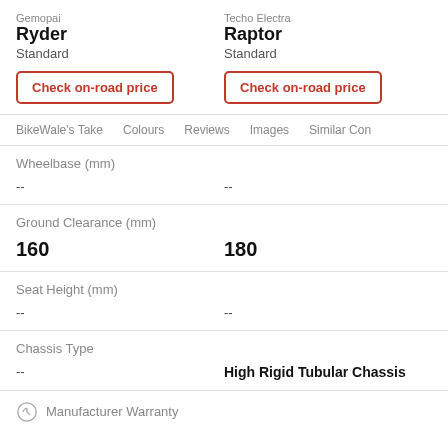Gemopai
Ryder
Standard
Techo Electra
Raptor
Standard
Check on-road price
Check on-road price
BikeWale's Take   Colours   Reviews   Images   Similar Con
|  | Gemopai Ryder Standard | Techo Electra Raptor Standard |
| --- | --- | --- |
| Wheelbase (mm) | -- | -- |
| Ground Clearance (mm) | 160 | 180 |
| Seat Height (mm) | -- | -- |
| Chassis Type | -- | High Rigid Tubular Chassis |